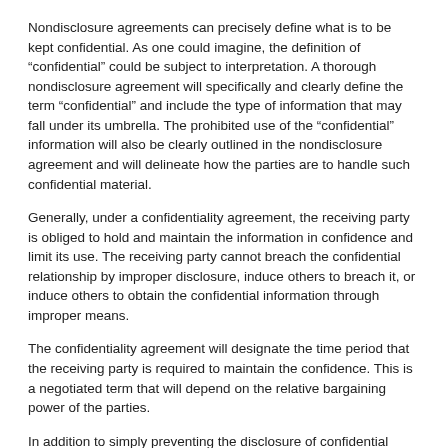Nondisclosure agreements can precisely define what is to be kept confidential.  As one could imagine, the definition of “confidential” could be subject to interpretation.  A thorough nondisclosure agreement will specifically and clearly define the term “confidential” and include the type of information that may fall under its umbrella.  The prohibited use of the “confidential” information will also be clearly outlined in the nondisclosure agreement and will delineate how the parties are to handle such confidential material.
Generally, under a confidentiality agreement, the receiving party is obliged to hold and maintain the information in confidence and limit its use.  The receiving party cannot breach the confidential relationship by improper disclosure, induce others to breach it, or induce others to obtain the confidential information through improper means.
The confidentiality agreement will designate the time period that the receiving party is required to maintain the confidence.  This is a negotiated term that will depend on the relative bargaining power of the parties.
In addition to simply preventing the disclosure of confidential information, nondisclosure agreements also help prevent the forfeiture of valuable intellectual property rights.  Under certain intellectual property laws, the public disclosure of information can be deemed as forfeiture of rights to that information.  As such, before…